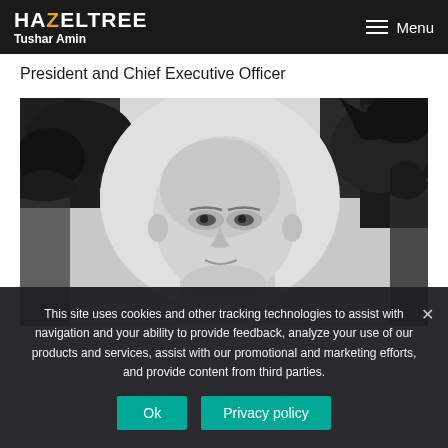HAZELTREE Tushar Amin | Menu
President and Chief Executive Officer
[Figure (photo): Black and white portrait photo of Tushar Amin, a bald middle-aged man, photographed outdoors with trees in the background.]
This site uses cookies and other tracking technologies to assist with navigation and your ability to provide feedback, analyze your use of our products and services, assist with our promotional and marketing efforts, and provide content from third parties.
Ok | Privacy policy